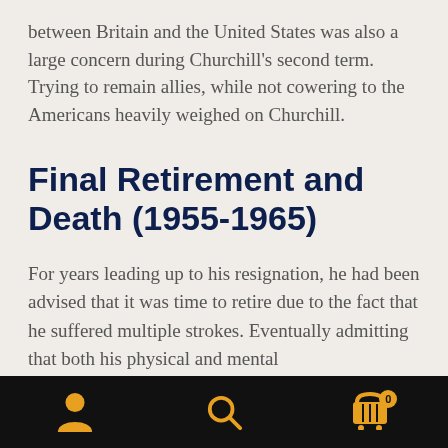between Britain and the United States was also a large concern during Churchill’s second term. Trying to remain allies, while not cowering to the Americans heavily weighed on Churchill.
Final Retirement and Death (1955-1965)
For years leading up to his resignation, he had been advised that it was time to retire due to the fact that he suffered multiple strokes. Eventually admitting that both his physical and mental